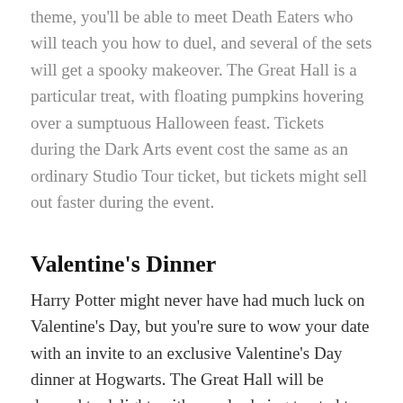theme, you'll be able to meet Death Eaters who will teach you how to duel, and several of the sets will get a spooky makeover. The Great Hall is a particular treat, with floating pumpkins hovering over a sumptuous Halloween feast. Tickets during the Dark Arts event cost the same as an ordinary Studio Tour ticket, but tickets might sell out faster during the event.
Valentine's Dinner
Harry Potter might never have had much luck on Valentine's Day, but you're sure to wow your date with an invite to an exclusive Valentine's Day dinner at Hogwarts. The Great Hall will be dressed to delight, with couples being treated to drinks and canapés before sitting down to a three-course meal. You'll then get to enjoy after-hours access to the entire Studio Tour, giving you a quieter and more personal experience away from the day's crowds. Drinks will be served on Platform 9¾ and coffee and sweet treats will be served